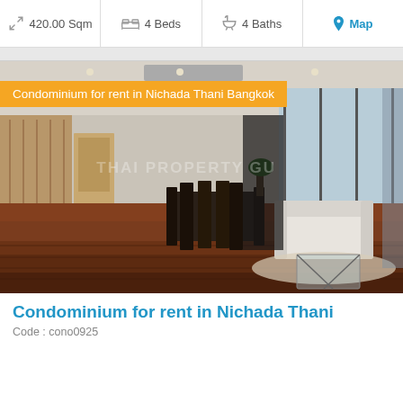| Size | Beds | Baths | Map |
| --- | --- | --- | --- |
| 420.00 Sqm | 4 Beds | 4 Baths | Map |
[Figure (photo): Interior photo of a large luxury condominium living and dining room with dark hardwood floors, white sofa, glass coffee table, dining set, and floor-to-ceiling windows. Watermark reads THAI PROPERTY GU (partially visible). Orange overlay label: Condominium for rent in Nichada Thani Bangkok]
Condominium for rent in Nichada Thani
Code : cono0925